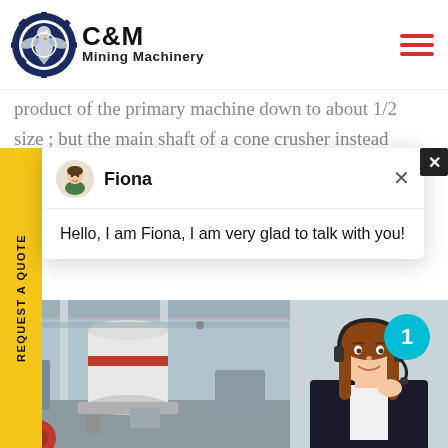[Figure (logo): C&M Mining Machinery logo with eagle in gear circle, dark navy blue, company name in bold sans-serif]
product of the primary machine down to about 1/2 size ; but the main shaft of a cone crusher instead being suspended from a spider is
[Figure (screenshot): Chat popup with avatar of Fiona, message: Hello, I am Fiona, I am very glad to talk with you!]
[Figure (photo): Industrial mining machinery photo (left) and customer service representative with headset photo (right) with Click to Chat and Enquiry buttons]